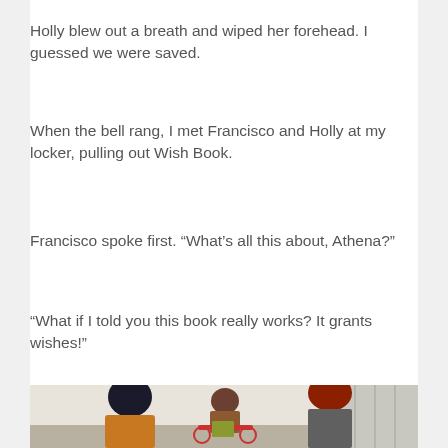Holly blew out a breath and wiped her forehead. I guessed we were saved.
When the bell rang, I met Francisco and Holly at my locker, pulling out Wish Book.
Francisco spoke first. “What’s all this about, Athena?”
“What if I told you this book really works? It grants wishes!”
[Figure (photo): A Sims 4 game screenshot showing three characters in a school hallway near lockers. A character in a wheelchair holds a green book, facing two other characters from behind — one with dark hair in a yellow-orange top, and one with red hair in a beanie.]